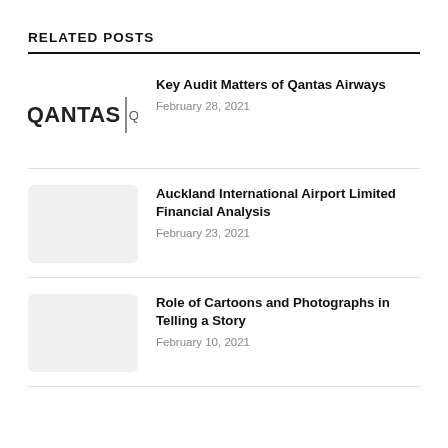RELATED POSTS
Key Audit Matters of Qantas Airways
February 28, 2021
Auckland International Airport Limited Financial Analysis
February 23, 2021
Role of Cartoons and Photographs in Telling a Story
February 10, 2021